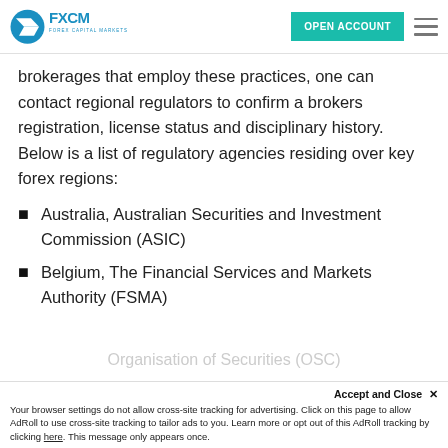FXCM – OPEN ACCOUNT
brokerages that employ these practices, one can contact regional regulators to confirm a brokers registration, license status and disciplinary history. Below is a list of regulatory agencies residing over key forex regions:
Australia, Australian Securities and Investment Commission (ASIC)
Belgium, The Financial Services and Markets Authority (FSMA)
Organisation of Securities (OSC)
Accept and Close ✕
Your browser settings do not allow cross-site tracking for advertising. Click on this page to allow AdRoll to use cross-site tracking to tailor ads to you. Learn more or opt out of this AdRoll tracking by clicking here. This message only appears once.